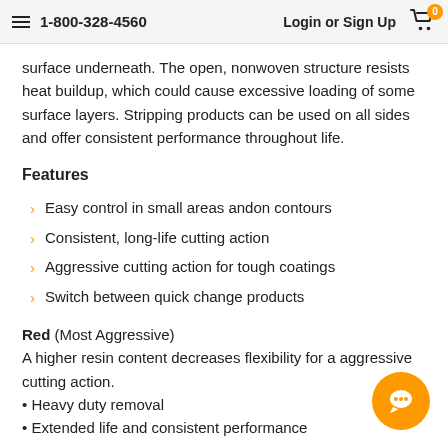≡  1-800-328-4560    Login or Sign Up  🛒 0
surface underneath. The open, nonwoven structure resists heat buildup, which could cause excessive loading of some surface layers. Stripping products can be used on all sides and offer consistent performance throughout life.
Features
Easy control in small areas andon contours
Consistent, long-life cutting action
Aggressive cutting action for tough coatings
Switch between quick change products
Red (Most Aggressive)
A higher resin content decreases flexibility for a aggressive cutting action.
• Heavy duty removal
• Extended life and consistent performance